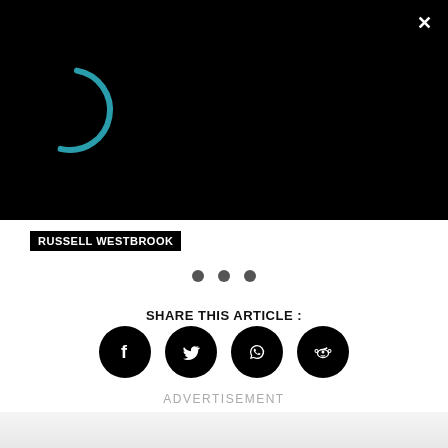[Figure (screenshot): Video player overlay on black background showing a teal spinner/loading arc icon on the left and white text on the right reading: This Day in History: Manu Ginobili's first career basket. An X close button is in the top right corner.]
RUSSELL WESTBROOK
[Figure (other): Three grey filled circle dots indicating a carousel or pagination indicator]
SHARE THIS ARTICLE :
[Figure (infographic): Four black circle social media share icons in a row: Facebook, Twitter, WhatsApp, Reddit]
ADVERTISEMENT